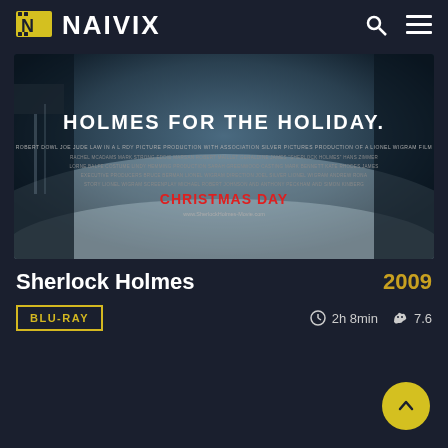NAIVIX
[Figure (photo): Sherlock Holmes movie promotional poster with text 'HOLMES FOR THE HOLIDAY.' and 'CHRISTMAS DAY' in red, dark atmospheric background]
Sherlock Holmes  2009
BLU-RAY  2h 8min  7.6